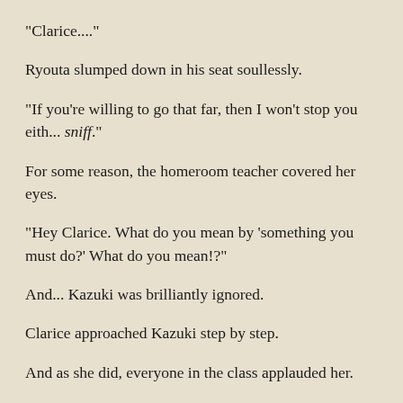"Clarice...."
Ryouta slumped down in his seat soullessly.
"If you're willing to go that far, then I won't stop you eith... sniff."
For some reason, the homeroom teacher covered her eyes.
"Hey Clarice. What do you mean by 'something you must do?' What do you mean!?"
And... Kazuki was brilliantly ignored.
Clarice approached Kazuki step by step.
And as she did, everyone in the class applauded her.
"Do you best, Clarice!" "We'll help you if anything happens!" "We're forever by your side!"